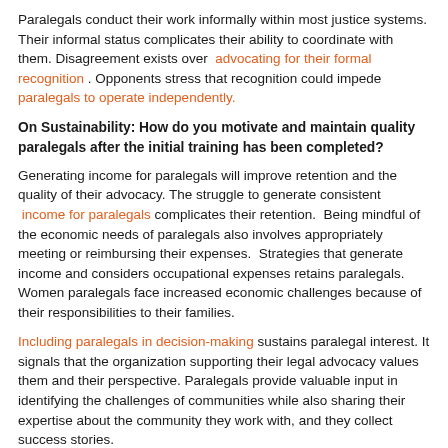Paralegals conduct their work informally within most justice systems. Their informal status complicates their ability to coordinate with them. Disagreement exists over advocating for their formal recognition . Opponents stress that recognition could impede paralegals to operate independently.
On Sustainability: How do you motivate and maintain quality paralegals after the initial training has been completed?
Generating income for paralegals will improve retention and the quality of their advocacy. The struggle to generate consistent income for paralegals complicates their retention. Being mindful of the economic needs of paralegals also involves appropriately meeting or reimbursing their expenses. Strategies that generate income and considers occupational expenses retains paralegals. Women paralegals face increased economic challenges because of their responsibilities to their families.
Including paralegals in decision-making sustains paralegal interest. It signals that the organization supporting their legal advocacy values them and their perspective. Paralegals provide valuable input in identifying the challenges of communities while also sharing their expertise about the community they work with, and they collect success stories.
Training paralegals and improving accessibility to training, will sustain their interest and the effectiveness of their advocacy. Providing continued and